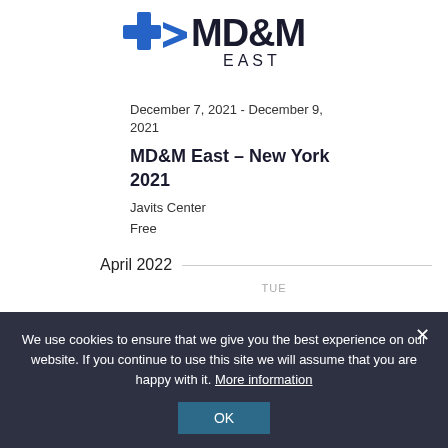[Figure (logo): MD&M East logo with blue cross and arrow icon, bold dark text 'MD&M' and 'EAST' below]
December 7, 2021 - December 9, 2021
MD&M East – New York 2021
Javits Center
Free
April 2022
TUE
We use cookies to ensure that we give you the best experience on our website. If you continue to use this site we will assume that you are happy with it. More information
OK